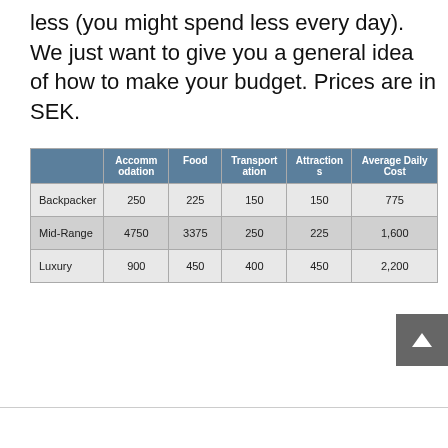less (you might spend less every day). We just want to give you a general idea of how to make your budget. Prices are in SEK.
|  | Accommodation | Food | Transportation | Attractions | Average Daily Cost |
| --- | --- | --- | --- | --- | --- |
| Backpacker | 250 | 225 | 150 | 150 | 775 |
| Mid-Range | 4750 | 3375 | 250 | 225 | 1,600 |
| Luxury | 900 | 450 | 400 | 450 | 2,200 |